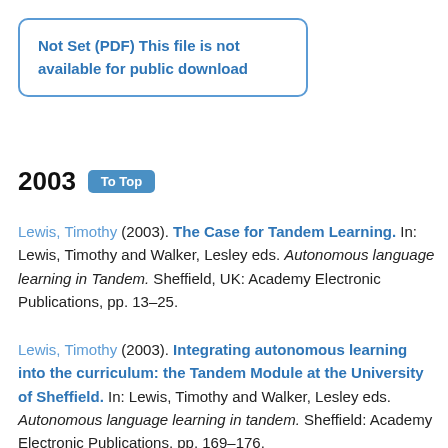Not Set (PDF) This file is not available for public download
2003  To Top
Lewis, Timothy (2003). The Case for Tandem Learning. In: Lewis, Timothy and Walker, Lesley eds. Autonomous language learning in Tandem. Sheffield, UK: Academy Electronic Publications, pp. 13–25.
Lewis, Timothy (2003). Integrating autonomous learning into the curriculum: the Tandem Module at the University of Sheffield. In: Lewis, Timothy and Walker, Lesley eds. Autonomous language learning in tandem. Sheffield: Academy Electronic Publications, pp. 169–176.